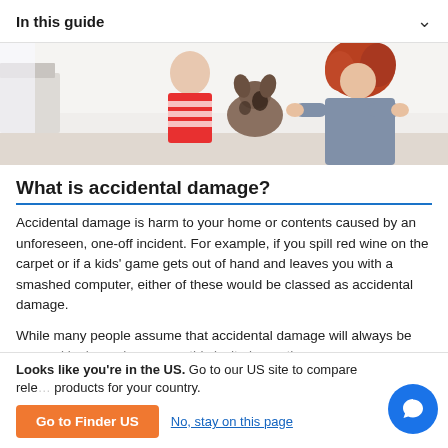In this guide
[Figure (photo): Photo of a child and a woman holding a puppy indoors]
What is accidental damage?
Accidental damage is harm to your home or contents caused by an unforeseen, one-off incident. For example, if you spill red wine on the carpet or if a kids' game gets out of hand and leaves you with a smashed computer, either of these would be classed as accidental damage.
While many people assume that accidental damage will always be covered by home insurance, this isn't always the
Looks like you're in the US. Go to our US site to compare relevant products for your country.
Go to Finder US
No, stay on this page